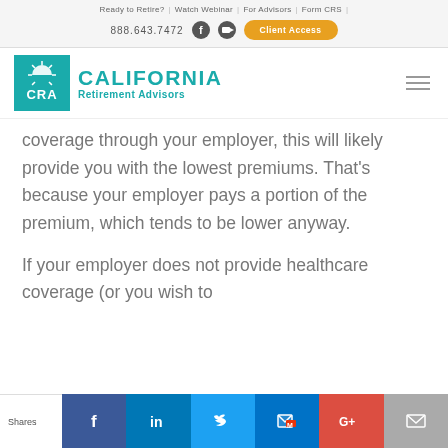Ready to Retire? | Watch Webinar | For Advisors | Form CRS | 888.643.7472
[Figure (logo): California Retirement Advisors (CRA) logo — teal square with CRA text and sunburst, next to CALIFORNIA Retirement Advisors text in teal]
coverage through your employer, this will likely provide you with the lowest premiums. That's because your employer pays a portion of the premium, which tends to be lower anyway.
If your employer does not provide healthcare coverage (or you wish to
Shares | Facebook | LinkedIn | Twitter | Outlook | Google+ | Mail